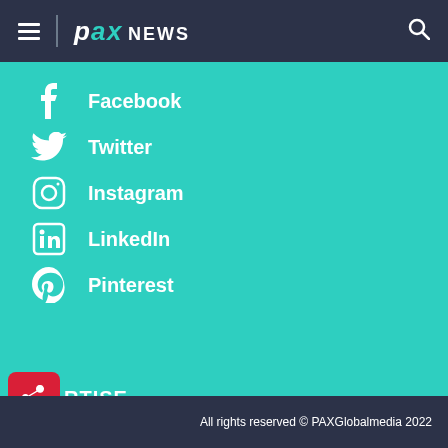PAX NEWS
Facebook
Twitter
Instagram
LinkedIn
Pinterest
RTISE
Email Us
(416) 581-1001 ext. 304
All rights reserved © PAXGlobalmedia 2022